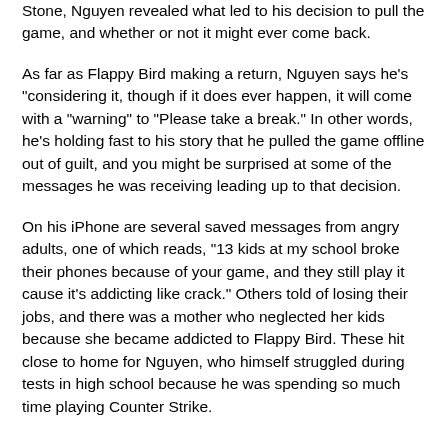Stone, Nguyen revealed what led to his decision to pull the game, and whether or not it might ever come back.
As far as Flappy Bird making a return, Nguyen says he's "considering it, though if it does ever happen, it will come with a "warning" to "Please take a break." In other words, he's holding fast to his story that he pulled the game offline out of guilt, and you might be surprised at some of the messages he was receiving leading up to that decision.
On his iPhone are several saved messages from angry adults, one of which reads, "13 kids at my school broke their phones because of your game, and they still play it cause it's addicting like crack." Others told of losing their jobs, and there was a mother who neglected her kids because she became addicted to Flappy Bird. These hit close to home for Nguyen, who himself struggled during tests in high school because he was spending so much time playing Counter Strike.